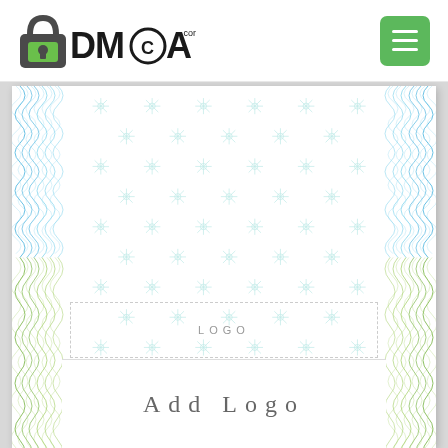[Figure (logo): DMCA.com logo with padlock icon]
[Figure (other): Hamburger menu button (green square with three white horizontal lines)]
[Figure (illustration): DMCA certificate template with blue and green wavy guilloche border on left and right sides, teal dot/snowflake watermark pattern background, LOGO placeholder text in center-lower area, blank white add logo box at bottom with 'Add Logo' text in gray serif font with letter spacing]